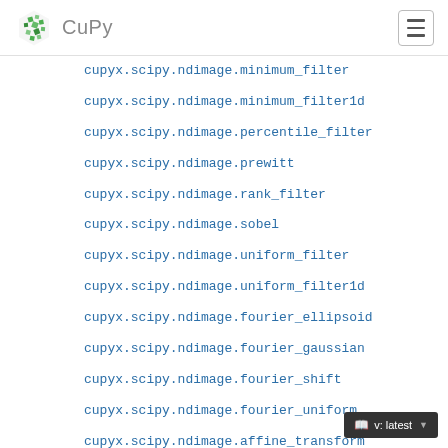CuPy
cupyx.scipy.ndimage.minimum_filter
cupyx.scipy.ndimage.minimum_filter1d
cupyx.scipy.ndimage.percentile_filter
cupyx.scipy.ndimage.prewitt
cupyx.scipy.ndimage.rank_filter
cupyx.scipy.ndimage.sobel
cupyx.scipy.ndimage.uniform_filter
cupyx.scipy.ndimage.uniform_filter1d
cupyx.scipy.ndimage.fourier_ellipsoid
cupyx.scipy.ndimage.fourier_gaussian
cupyx.scipy.ndimage.fourier_shift
cupyx.scipy.ndimage.fourier_uniform
cupyx.scipy.ndimage.affine_transform